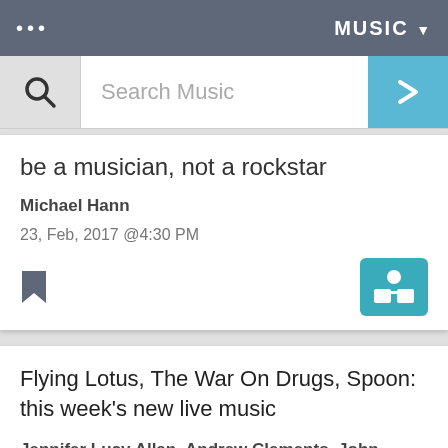... MUSIC ▼
Search Music
be a musician, not a rockstar
Michael Hann
23, Feb, 2017 @4:30 PM
Flying Lotus, The War On Drugs, Spoon: this week's new live music
Jennifer Lucy Allan, Andrew Clements, John Fordham & John Robinson
01, Nov, 2014 @6:00 AM